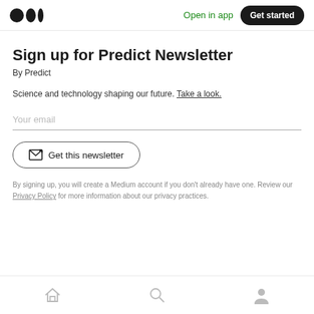Open in app | Get started
Sign up for Predict Newsletter
By Predict
Science and technology shaping our future. Take a look.
Your email
Get this newsletter
By signing up, you will create a Medium account if you don't already have one. Review our Privacy Policy for more information about our privacy practices.
Home | Search | Profile